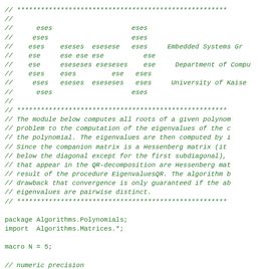// *****************************************************
//
//      eses                    eses
//     eses                     eses
//    eses    eseses  esesese   eses     Embedded Systems Gr
//    ese     ese ese ese          ese
//    ese     eseseses eseseses    ese     Department of Compu
//    eses    eses         ese   eses
//     eses   eseses  eseseses   eses     University of Kaise
//      eses                    eses
//
// *****************************************************
// The module below computes all roots of a given polynom
// problem to the computation of the eigenvalues of the c
// the polynomial. The eigenvalues are then computed by i
// Since the companion matrix is a Hessenberg matrix (it
// below the diagonal except for the first subdiagonal),
// that appear in the QR-decomposition are Hessenberg mat
// result of the procedure EigenvaluesQR. The algorithm b
// drawback that convergence is only guaranteed if the ab
// eigenvalues are pairwise distinct.
// *****************************************************
package Algorithms.Polynomials;
import  Algorithms.Matrices.*;
macro N = 5;
// numeric precision